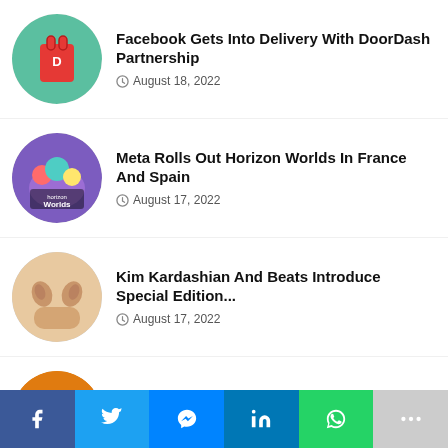[Figure (photo): Red DoorDash bag with logo on circular thumbnail]
Facebook Gets Into Delivery With DoorDash Partnership
August 18, 2022
[Figure (photo): Horizon Worlds logo with colorful characters on circular thumbnail]
Meta Rolls Out Horizon Worlds In France And Spain
August 17, 2022
[Figure (photo): Kim Kardashian Beats earbuds in beige/nude color on circular thumbnail]
Kim Kardashian And Beats Introduce Special Edition...
August 17, 2022
[Figure (photo): Lyft car interior partial view on circular thumbnail]
Lyft Wants To Cash In On In-Car Digital Ads